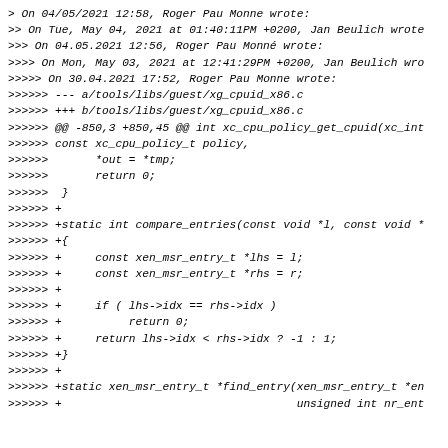> On 04/05/2021 12:58, Roger Pau Monne wrote:
>> On Tue, May 04, 2021 at 01:40:11PM +0200, Jan Beulich wrote
>>> On 04.05.2021 12:56, Roger Pau Monné wrote:
>>>> On Mon, May 03, 2021 at 12:41:29PM +0200, Jan Beulich wro
>>>>> On 30.04.2021 17:52, Roger Pau Monne wrote:
>>>>>> --- a/tools/libs/guest/xg_cpuid_x86.c
>>>>>> +++ b/tools/libs/guest/xg_cpuid_x86.c
>>>>>> @@ -850,3 +850,45 @@ int xc_cpu_policy_get_cpuid(xc_int
>>>>>> const xc_cpu_policy_t policy,
>>>>>>        *out = *tmp;
>>>>>>        return 0;
>>>>>>  }
>>>>>> +
>>>>>> +static int compare_entries(const void *l, const void *
>>>>>> +{
>>>>>> +     const xen_msr_entry_t *lhs = l;
>>>>>> +     const xen_msr_entry_t *rhs = r;
>>>>>> +
>>>>>> +     if ( lhs->idx == rhs->idx )
>>>>>> +          return 0;
>>>>>> +     return lhs->idx < rhs->idx ? -1 : 1;
>>>>>> +}
>>>>>> +
>>>>>> +static xen_msr_entry_t *find_entry(xen_msr_entry_t *en
>>>>>> +                                   unsigned int nr_ent